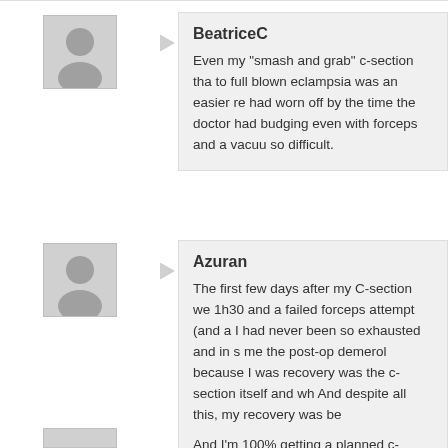BeatriceC
Even my “smash and grab” c-section that due to full blown eclampsia was an easier re had worn off by the time the doctor had budging even with forceps and a vacuum so difficult.
Azuran
The first few days after my C-section we 1h30 and a failed forceps attempt (and a I had never been so exhausted and in s me the post-op demerol because I was recovery was the c-section itself and wh And despite all this, my recovery was be

And I’m 100% getting a planned c-section rate :p